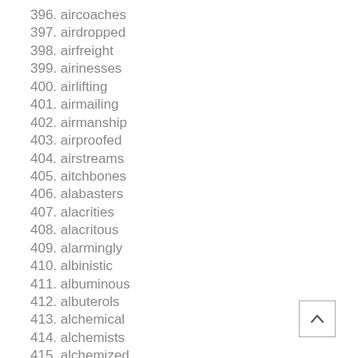396. aircoaches
397. airdropped
398. airfreight
399. airinesses
400. airlifting
401. airmailing
402. airmanship
403. airproofed
404. airstreams
405. aitchbones
406. alabasters
407. alacrities
408. alacritous
409. alarmingly
410. albinistic
411. albuminous
412. albuterols
413. alchemical
414. alchemists
415. alchemized
416. alchemizes